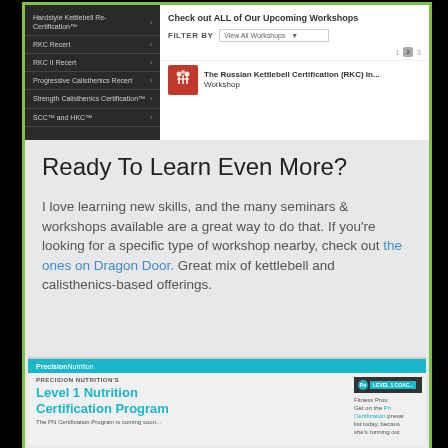[Figure (screenshot): Screenshot of Dragon Door website showing navigation menu with kettlebell/calisthenics certifications on the left, and 'Check out ALL of Our Upcoming Workshops' section with filter dropdown and workshop listings on the right.]
Ready To Learn Even More?
I love learning new skills, and the many seminars & workshops available are a great way to do that. If you're looking for a specific type of workshop nearby, check out the ones on Dragon Door. Great mix of kettlebell and calisthenics-based offerings.
[Figure (screenshot): Screenshot of Precision Nutrition's Level 1 Nutrition Certification Program webpage, showing the Precision Nutrition logo in a teal header bar, headline text 'PRECISION NUTRITION'S Level 1 Nutrition Certification Program', and a sidebar with a Pn badge and text about fitness professionals getting on the certification wait list.]